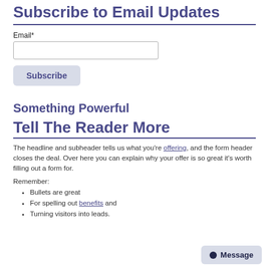Subscribe to Email Updates
Email*
Subscribe
Something Powerful
Tell The Reader More
The headline and subheader tells us what you're offering, and the form header closes the deal. Over here you can explain why your offer is so great it's worth filling out a form for.
Remember:
Bullets are great
For spelling out benefits and
Turning visitors into leads.
Message